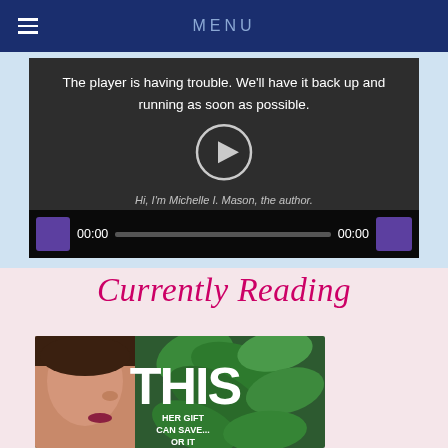MENU
[Figure (screenshot): Video player with error message: 'The player is having trouble. We'll have it back up and running as soon as possible.' Audio/video controls bar with timestamp 00:00 on both sides and a progress bar. Subtitle text: Hi, I'm Michelle I. Mason, the author.]
Currently Reading
[Figure (photo): Book cover showing a woman's profile on the left and large green leaves on the right, with the title 'THIS' in large white letters and tagline 'HER GIFT CAN SAVE... OR IT']